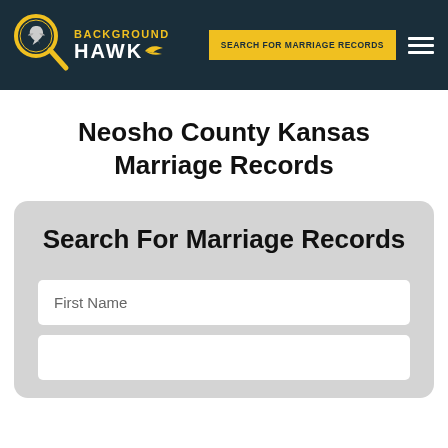BACKGROUND HAWK — SEARCH FOR MARRIAGE RECORDS
Neosho County Kansas Marriage Records
Search For Marriage Records
First Name